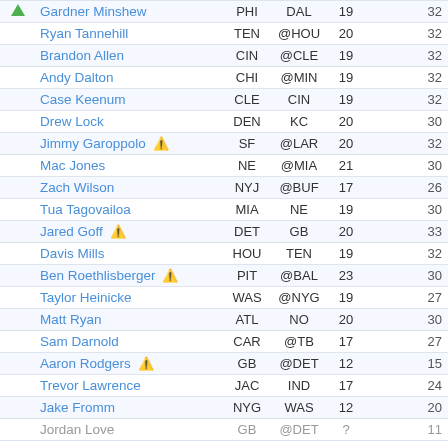|  | Player | Team | Opp | Pts |  |
| --- | --- | --- | --- | --- | --- |
| ▲ | Gardner Minshew | PHI | DAL | 19 | 32 |
|  | Ryan Tannehill | TEN | @HOU | 20 | 32 |
|  | Brandon Allen | CIN | @CLE | 19 | 32 |
|  | Andy Dalton | CHI | @MIN | 19 | 32 |
|  | Case Keenum | CLE | CIN | 19 | 32 |
|  | Drew Lock | DEN | KC | 20 | 30 |
|  | Jimmy Garoppolo ⚠ | SF | @LAR | 20 | 32 |
|  | Mac Jones | NE | @MIA | 21 | 30 |
|  | Zach Wilson | NYJ | @BUF | 17 | 26 |
|  | Tua Tagovailoa | MIA | NE | 19 | 30 |
|  | Jared Goff ⚠ | DET | GB | 20 | 33 |
|  | Davis Mills | HOU | TEN | 19 | 32 |
|  | Ben Roethlisberger ⚠ | PIT | @BAL | 23 | 30 |
|  | Taylor Heinicke | WAS | @NYG | 19 | 27 |
|  | Matt Ryan | ATL | NO | 20 | 30 |
|  | Sam Darnold | CAR | @TB | 17 | 27 |
|  | Aaron Rodgers ⚠ | GB | @DET | 12 | 15 |
|  | Trevor Lawrence | JAC | IND | 17 | 24 |
|  | Jake Fromm | NYG | WAS | 12 | 20 |
|  | Jordan Love | GB | @DET | ? | 11 |